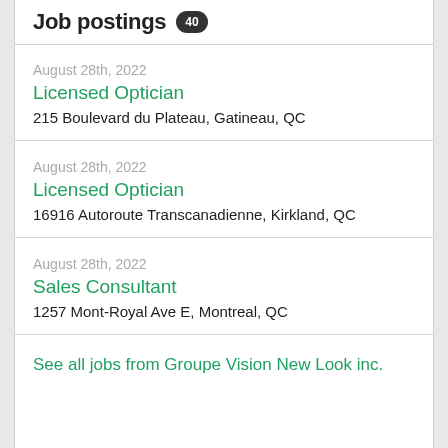Job postings 40
August 28th, 2022
Licensed Optician
215 Boulevard du Plateau, Gatineau, QC
August 28th, 2022
Licensed Optician
16916 Autoroute Transcanadienne, Kirkland, QC
August 28th, 2022
Sales Consultant
1257 Mont-Royal Ave E, Montreal, QC
See all jobs from Groupe Vision New Look inc.